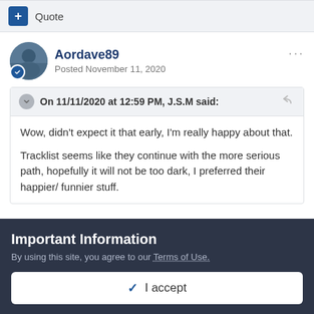+ Quote
Aordave89
Posted November 11, 2020
On 11/11/2020 at 12:59 PM, J.S.M said:
Wow, didn't expect it that early, I'm really happy about that.

Tracklist seems like they continue with the more serious path, hopefully it will not be too dark, I preferred their happier/ funnier stuff.
Important Information
By using this site, you agree to our Terms of Use.
✓ I accept